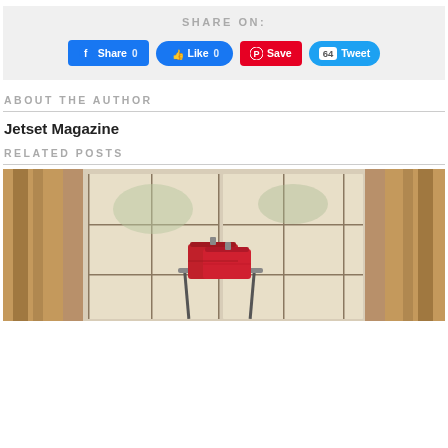[Figure (screenshot): Social media share buttons: Facebook Share 0, Facebook Like 0, Pinterest Save, Twitter Tweet 64]
ABOUT THE AUTHOR
Jetset Magazine
RELATED POSTS
[Figure (photo): Hotel room interior with draped golden curtains, large windows, and red luggage on a rack]